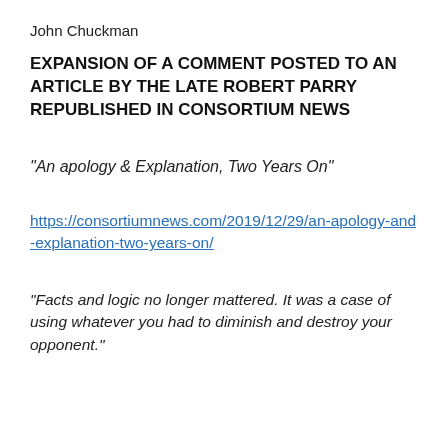John Chuckman
EXPANSION OF A COMMENT POSTED TO AN ARTICLE BY THE LATE ROBERT PARRY REPUBLISHED IN CONSORTIUM NEWS
“An apology & Explanation, Two Years On”
https://consortiumnews.com/2019/12/29/an-apology-and-explanation-two-years-on/
“Facts and logic no longer mattered. It was a case of using whatever you had to diminish and destroy your opponent.”